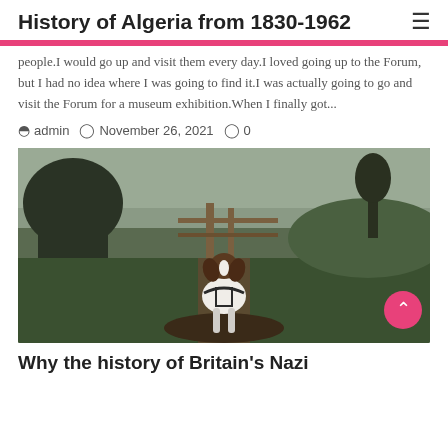History of Algeria from 1830-1962
people.I would go up and visit them every day.I loved going up to the Forum, but I had no idea where I was going to find it.I was actually going to go and visit the Forum for a museum exhibition.When I finally got...
admin   November 26, 2021   0
[Figure (photo): A dog (springer spaniel type) sitting on a muddy countryside path, facing camera, with a wooden gate and green fields in the background. Dark, moody outdoor lighting.]
Why the history of Britain's Nazi